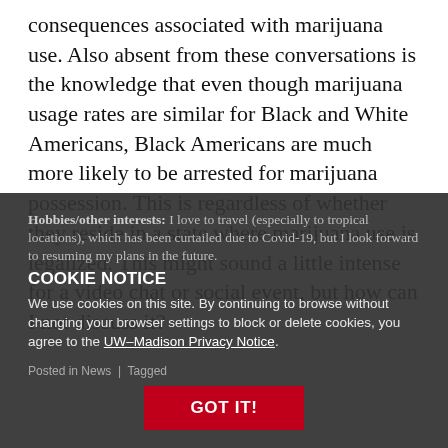consequences associated with marijuana use. Also absent from these conversations is the knowledge that even though marijuana usage rates are similar for Black and White Americans, Black Americans are much more likely to be arrested for marijuana possession. This is regardless of whether they reside in a state where marijuana use is legalized. This might sound a little intense for a video chat or social event, but how can I not discuss it?
Hobbies/other interests: I love to travel (especially to tropical locations), which has been curtailed due to Covid-19, but I look forward to resuming my plans in the future.
COOKIE NOTICE
We use cookies on this site. By continuing to browse without changing your browser settings to block or delete cookies, you agree to the UW–Madison Privacy Notice.
Posted in News | Tagged ...
GOT IT!